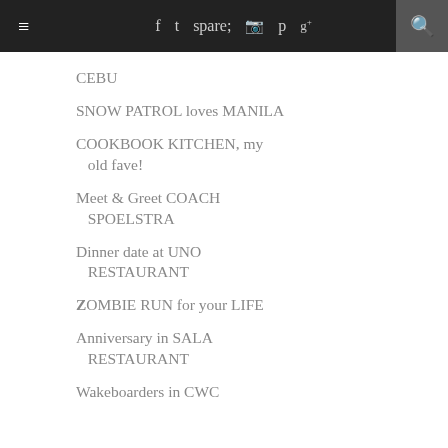≡  f  t  ☷  ℗  g+  🔍
CEBU
SNOW PATROL loves MANILA
COOKBOOK KITCHEN, my old fave!
Meet & Greet COACH SPOELSTRA
Dinner date at UNO RESTAURANT
ZOMBIE RUN for your LIFE
Anniversary in SALA RESTAURANT
Wakeboarders in CWC